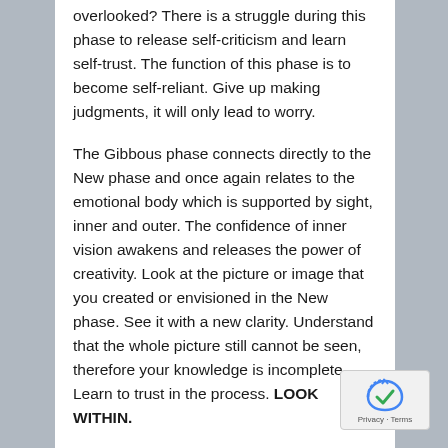overlooked? There is a struggle during this phase to release self-criticism and learn self-trust. The function of this phase is to become self-reliant. Give up making judgments, it will only lead to worry.

The Gibbous phase connects directly to the New phase and once again relates to the emotional body which is supported by sight, inner and outer. The confidence of inner vision awakens and releases the power of creativity. Look at the picture or image that you created or envisioned in the New phase. See it with a new clarity. Understand that the whole picture still cannot be seen, therefore your knowledge is incomplete. Learn to trust in the process. LOOK WITHIN.